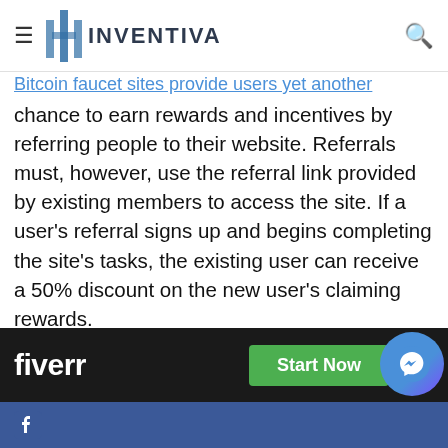Inventiva — navigation bar with hamburger menu and search icon
Bitcoin faucet sites provide users yet another chance to earn rewards and incentives by referring people to their website. Referrals must, however, use the referral link provided by existing members to access the site. If a user's referral signs up and begins completing the site's tasks, the existing user can receive a 50% discount on the new user's claiming rewards.
Users who wish to optimise their revenues in a short period of time can utilise a rotator site as an alternative. Users will be able to access numerous different…
[Figure (screenshot): Fiverr advertisement banner at the bottom of the screen with 'Start Now' green button and a close button]
Facebook bottom toolbar